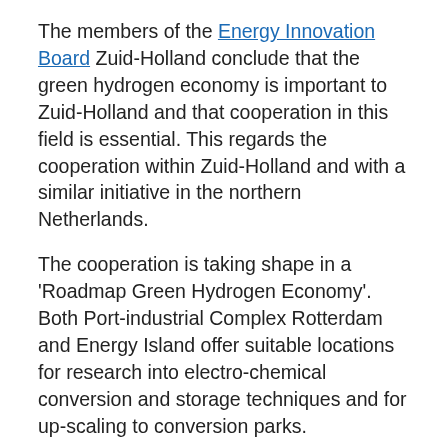The members of the Energy Innovation Board Zuid-Holland conclude that the green hydrogen economy is important to Zuid-Holland and that cooperation in this field is essential. This regards the cooperation within Zuid-Holland and with a similar initiative in the northern Netherlands.
The cooperation is taking shape in a 'Roadmap Green Hydrogen Economy'. Both Port-industrial Complex Rotterdam and Energy Island offer suitable locations for research into electro-chemical conversion and storage techniques and for up-scaling to conversion parks.
A green hydrogen economy is all about using electricity from, in particular, wind parks at sea to split water into hydrogen and oxygen on an industrial scale. This sustainable, 'green' hydrogen can be used as a raw material for the chemical industry, as energy carrier for vehicles, or as an alternative for natural gas to heat